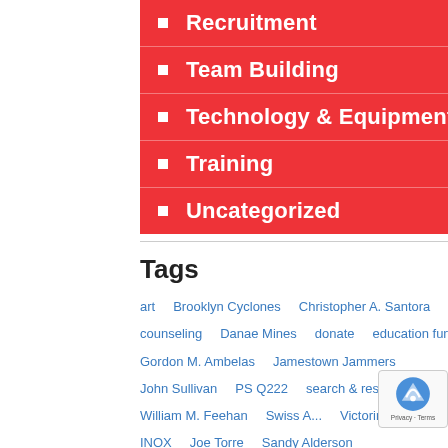Recruitment
Team Building
Technology & Equipment
Training
Uncategorized
Tags
art   Brooklyn Cyclones   Christopher A. Santora   counseling   Danae Mines   donate   education fund   Gordon M. Ambelas   Jamestown Jammers   John Sullivan   PS Q222   search & rescue   William M. Feehan   Swiss A...   Victorinox   blog   INOX   Joe Torre   Sandy Alderson